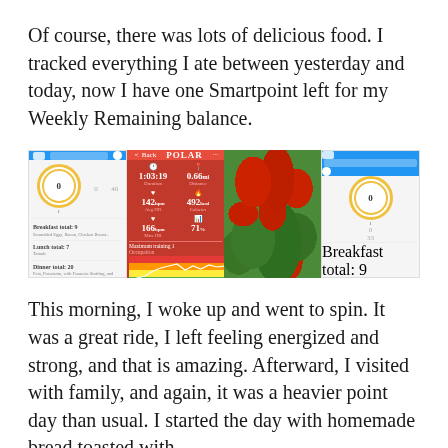Of course, there was lots of delicious food. I tracked everything I ate between yesterday and today, now I have one Smartpoint left for my Weekly Remaining balance.
[Figure (photo): Three-panel image: left panel shows a Weight Watchers app screenshot with blue header, circular gauge showing 1/0/40 stats and food log entries; center panel shows a Polar heart rate monitor app screenshot on red background with metrics (1:03:19, 0.66mi, 142bpm, 492kcal, 166bpm, 71%) and a colorful heart rate zone chart; right panel shows a photo of fresh cherry tomatoes and snap peas in a dark bowl; far right shows another Weight Watchers app screenshot similar to the left with 1/0/33 stats.]
This morning, I woke up and went to spin. It was a great ride, I left feeling energized and strong, and that is amazing. Afterward, I visited with family, and again, it was a heavier point day than usual. I started the day with homemade bread toasted with